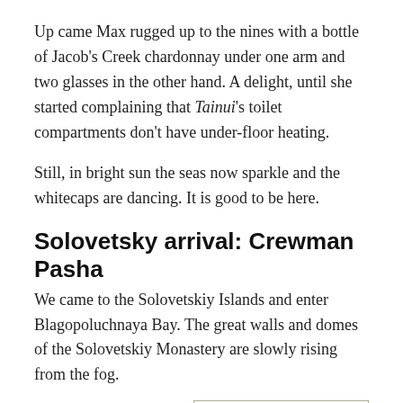Up came Max rugged up to the nines with a bottle of Jacob's Creek chardonnay under one arm and two glasses in the other hand. A delight, until she started complaining that Tainui's toilet compartments don't have under-floor heating.
Still, in bright sun the seas now sparkle and the whitecaps are dancing. It is good to be here.
Solovetsky arrival: Crewman Pasha
We came to the Solovetskiy Islands and enter Blagopoluchnaya Bay. The great walls and domes of the Solovetskiy Monastery are slowly rising from the fog.
Oh, these walls could tell
[Figure (map): A map showing northern Russia / Arctic region with a red route line from Vardo curving eastward across the Barents Sea.]